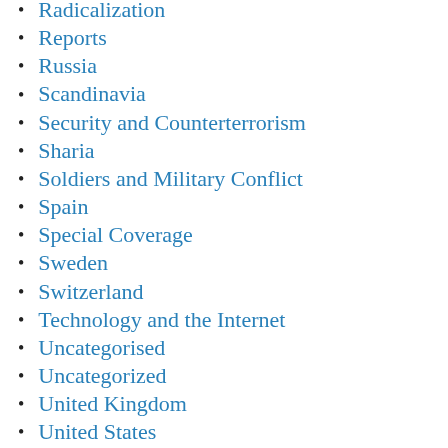Radicalization
Reports
Russia
Scandinavia
Security and Counterterrorism
Sharia
Soldiers and Military Conflict
Spain
Special Coverage
Sweden
Switzerland
Technology and the Internet
Uncategorised
Uncategorized
United Kingdom
United States
Vid…